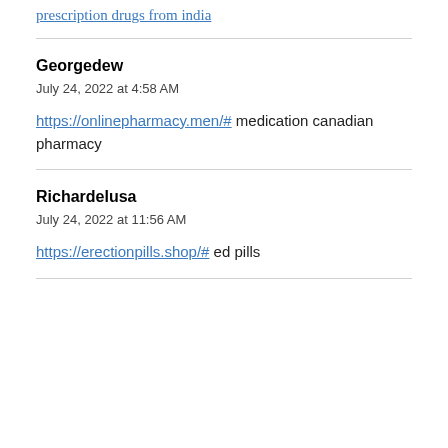prescription drugs from india
Georgedew
July 24, 2022 at 4:58 AM
https://onlinepharmacy.men/# medication canadian pharmacy
Richardelusa
July 24, 2022 at 11:56 AM
https://erectionpills.shop/# ed pills